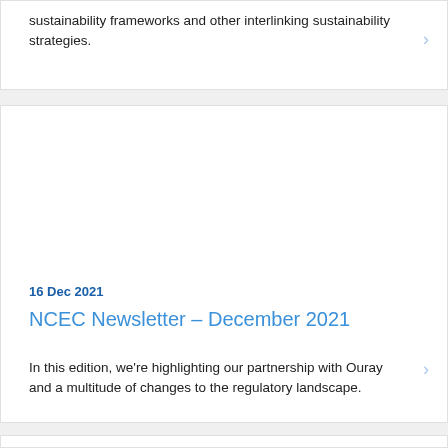sustainability frameworks and other interlinking sustainability strategies.
16 Dec 2021
NCEC Newsletter – December 2021
In this edition, we're highlighting our partnership with Ouray and a multitude of changes to the regulatory landscape.